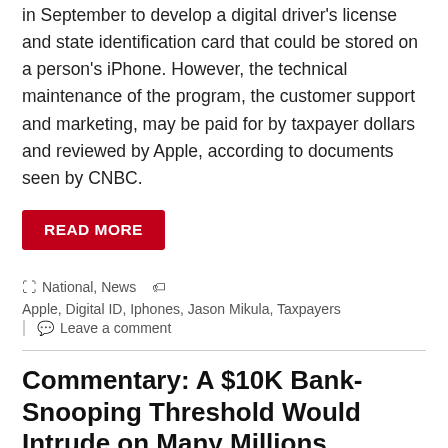in September to develop a digital driver's license and state identification card that could be stored on a person's iPhone. However, the technical maintenance of the program, the customer support and marketing, may be paid for by taxpayer dollars and reviewed by Apple, according to documents seen by CNBC.
READ MORE
National, News   Apple, Digital ID, Iphones, Jason Mikula, Taxpayers
Leave a comment
Commentary: A $10K Bank-Snooping Threshold Would Intrude on Many Millions
October 29, 2021   RealClearWire
[Figure (photo): ATM machine with 'Free Cash withdrawals' sign, person in mask visible]
Bowing to pressure from banks and taxpayers concerned about a proposal to require financial institutions to report to the IRS gross inflows